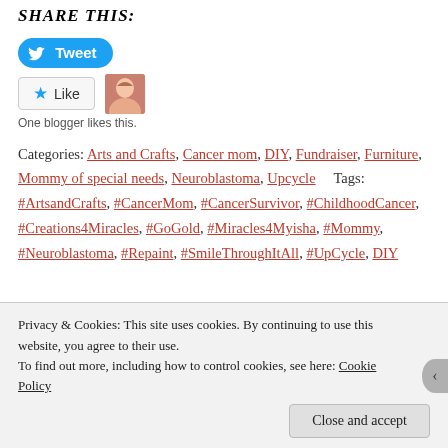SHARE THIS:
[Figure (other): Tweet button (blue rounded button with bird icon and 'Tweet' text)]
[Figure (other): Like button with star icon and a blogger avatar thumbnail. Text: One blogger likes this.]
One blogger likes this.
Categories: Arts and Crafts, Cancer mom, DIY, Fundraiser, Furniture, Mommy of special needs, Neuroblastoma, Upcycle     Tags: #ArtsandCrafts, #CancerMom, #CancerSurvivor, #ChildhoodCancer, #Creations4Miracles, #GoGold, #Miracles4Myisha, #Mommy, #Neuroblastoma, #Repaint, #SmileThroughItAll, #UpCycle, DIY
Privacy & Cookies: This site uses cookies. By continuing to use this website, you agree to their use. To find out more, including how to control cookies, see here: Cookie Policy
Close and accept